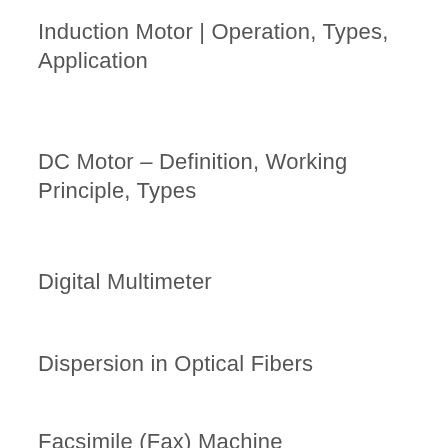Induction Motor | Operation, Types, Application
DC Motor – Definition, Working Principle, Types
Digital Multimeter
Dispersion in Optical Fibers
Facsimile (Fax) Machine